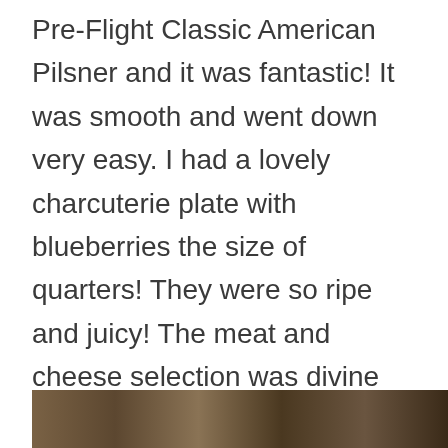Pre-Flight Classic American Pilsner and it was fantastic! It was smooth and went down very easy. I had a lovely charcuterie plate with blueberries the size of quarters! They were so ripe and juicy! The meat and cheese selection was divine and definitely not what I was expecting from a brewery. The space is a bistro and I can see myself spending hours there on the patio during the summer. Before I left, I had a great shrub. I was impressed not just with the beer but with the commitment to craft beverages of all sorts.
[Figure (photo): Partial view of what appears to be a brewery or bistro interior, showing dark wooden elements, partially visible at the bottom of the page.]